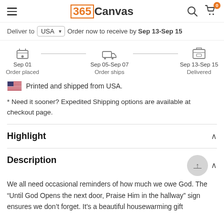365Canvas
Deliver to USA  Order now to receive by Sep 13-Sep 15
[Figure (infographic): Shipping timeline showing Order placed Sep 01, Order ships Sep 05-Sep 07, Delivered Sep 13-Sep 15]
Printed and shipped from USA.
* Need it sooner? Expedited Shipping options are available at checkout page.
Highlight
Description
We all need occasional reminders of how much we owe God. The “Until God Opens the next door, Praise Him in the hallway” sign ensures we don’t forget. It’s a beautiful housewarming gift